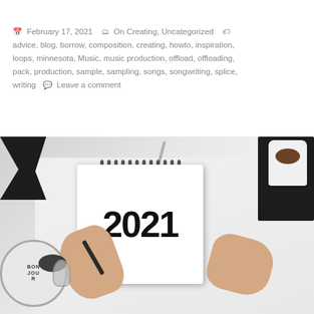February 17, 2021   On Creating, Uncategorized   advice, blog, borrow, composition, creating, howto, inspiration, loops, minnesota, Music, music production, offload, offloading, pack, production, sample, sampling, songs, songwriting, splice, writing   Leave a comment
[Figure (photo): Overhead photo of a person's hands holding open a spiral-bound notebook showing '2021' on the white page, surrounded by a black bow tie, scissors, pens, a white coffee cup with dark coffee, a black notebook/diary, and a 'Bonjour' round bag on a light desk surface.]